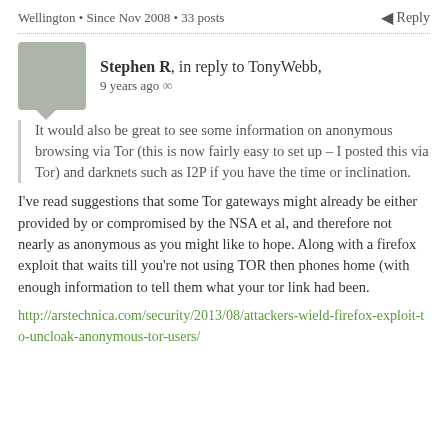Wellington • Since Nov 2008 • 33 posts
Reply
Stephen R, in reply to TonyWebb, 9 years ago ∞
It would also be great to see some information on anonymous browsing via Tor (this is now fairly easy to set up – I posted this via Tor) and darknets such as I2P if you have the time or inclination.
I've read suggestions that some Tor gateways might already be either provided by or compromised by the NSA et al, and therefore not nearly as anonymous as you might like to hope. Along with a firefox exploit that waits till you're not using TOR then phones home (with enough information to tell them what your tor link had been.
http://arstechnica.com/security/2013/08/attackers-wield-firefox-exploit-to-uncloak-anonymous-tor-users/